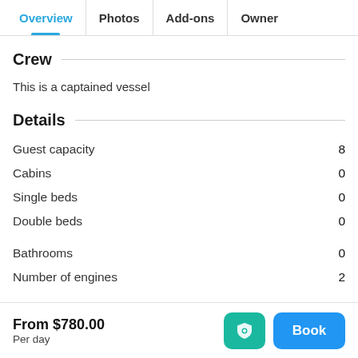Overview | Photos | Add-ons | Owner
Crew
This is a captained vessel
Details
|  |  |
| --- | --- |
| Guest capacity | 8 |
| Cabins | 0 |
| Single beds | 0 |
| Double beds | 0 |
| Bathrooms | 0 |
| Number of engines | 2 |
From $780.00
Per day